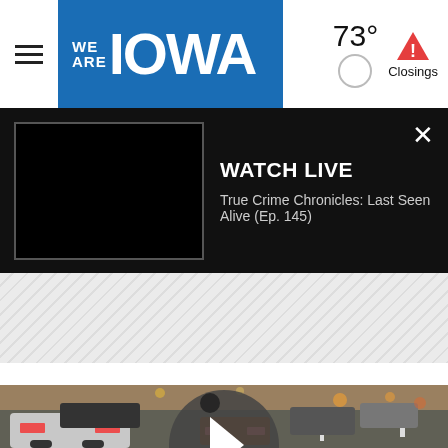WE ARE IOWA
73° Closings
[Figure (screenshot): Watch Live banner with black TV thumbnail and text: WATCH LIVE / True Crime Chronicles: Last Seen Alive (Ep. 145)]
[Figure (photo): Traffic scene with cars on a multi-lane road with a play button overlay in the center]